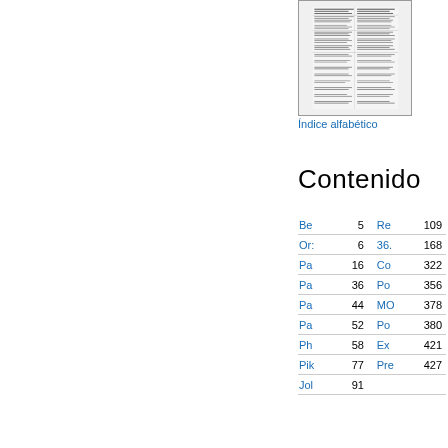[Figure (screenshot): Thumbnail of an index page showing dense tabular text content]
Índice alfabético
Contenido
| Entry | Page |  | Entry | Page |
| --- | --- | --- | --- | --- |
| Be | 5 |  | Re | 109 |
| Or: | 6 |  | 36. | 168 |
| Pa | 16 |  | Co | 322 |
| Pa | 36 |  | Po | 356 |
| Pa | 44 |  | MO | 378 |
| Pa | 52 |  | Po | 380 |
| Ph | 58 |  | Ex | 421 |
| Pik | 77 |  | Pre | 427 |
| Jol | 91 |  |  |  |